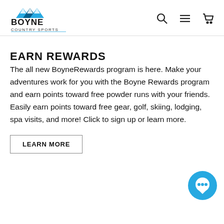Boyne Country Sports
EARN REWARDS
The all new BoyneRewards program is here. Make your adventures work for you with the Boyne Rewards program and earn points toward free powder runs with your friends. Easily earn points toward free gear, golf, skiing, lodging, spa visits, and more! Click to sign up or learn more.
LEARN MORE